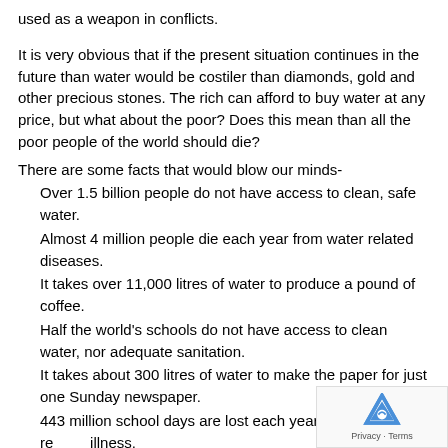used as a weapon in conflicts.
It is very obvious that if the present situation continues in the future than water would be costiler than diamonds, gold and other precious stones. The rich can afford to buy water at any price, but what about the poor? Does this mean than all the poor people of the world should die?
There are some facts that would blow our minds-
Over 1.5 billion people do not have access to clean, safe water.
Almost 4 million people die each year from water related diseases.
It takes over 11,000 litres of water to produce a pound of coffee.
Half the world's schools do not have access to clean water, nor adequate sanitation.
It takes about 300 litres of water to make the paper for just one Sunday newspaper.
443 million school days are lost each year due to water related illness.
On average, women in Africa and Asia have to walk 3.7 miles to